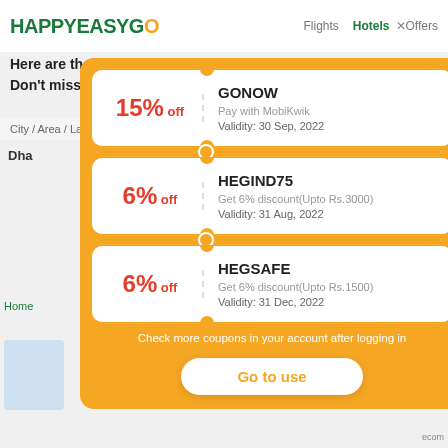HAPPYEASYGO  Flights  Hotels  ×Offers
Here are the coupons you have. Don't miss using them.
City / Area / Landmark / Hotel   Check-in
Dha   2
GONOW — 15% off — Pay with MobiKwik — Validity: 30 Sep, 2022
HEGIND75 — 6% off — Get 6% discount(Upto Rs.3000) — Validity: 31 Aug, 2022
HEGSAFE — 6% off — Get 6% discount(Upto Rs.1500) — Validity: 31 Dec, 2022
Check more coupons in your account after logging in
Go to use